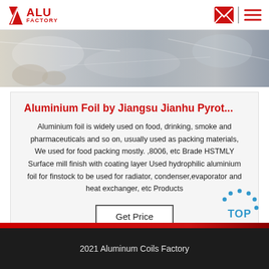ALU FACTORY
[Figure (photo): Close-up photo of aluminium foil being handled]
Aluminium Foil by Jiangsu Jianhu Pyrot...
Aluminium foil is widely used on food, drinking, smoke and pharmaceuticals and so on, usually used as packing materials, We used for food packing mostly. ,8006, etc Brade HSTMLY Surface mill finish with coating layer Used hydrophilic aluminium foil for finstock to be used for radiator, condenser,evaporator and heat exchanger, etc Products
Get Price
2021 Aluminum Coils Factory